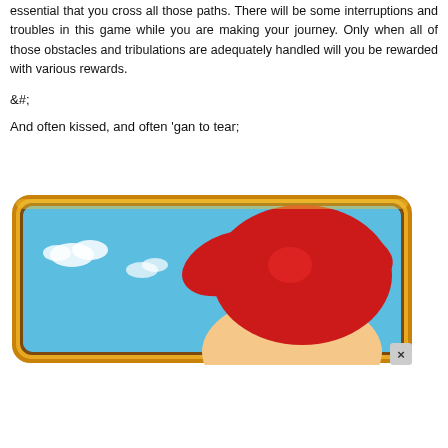essential that you cross all those paths. There will be some interruptions and troubles in this game while you are making your journey. Only when all of those obstacles and tribulations are adequately handled will you be rewarded with various rewards.
&#;
And often kissed, and often 'gan to tear;
[Figure (screenshot): A colorful mobile game screenshot showing a cartoon character with red hair against a blue sky background, framed in a gold/brown rounded rectangle border. A close (x) button appears in the bottom-right corner of the image.]